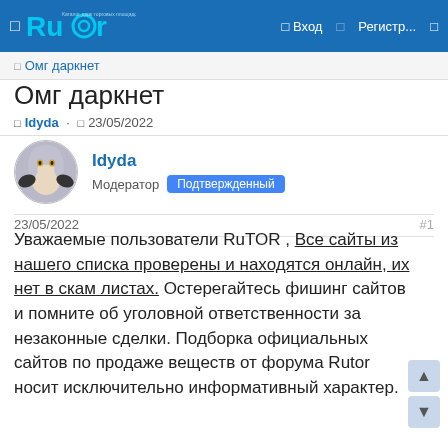□ Rutor  □ Вход  □ Регистр...  □
□ Омг даркнет
Омг даркнет
□ Idyda · □ 23/05/2022
Idyda
Модератор  Подтвержденный
23/05/2022  #1
Уважаемые пользователи RuTOR , Все сайты из нашего списка проверены и находятся онлайн, их нет в скам листах. Остерегайтесь фишинг сайтов и помните об уголовной ответственности за незаконные сделки. Подборка официальных сайтов по продаже веществ от форума Rutor носит исключительно информативный характер.